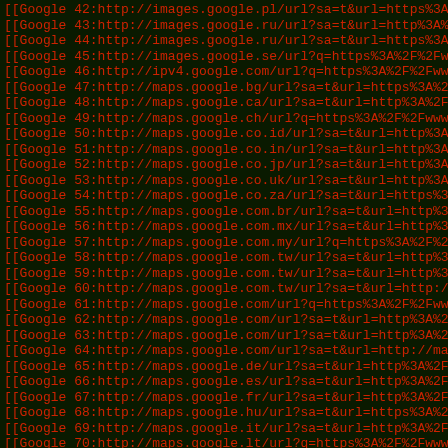Terminal/log output listing Google referral URLs numbered 42–70, displayed as red monospace text on a dark green/black background.